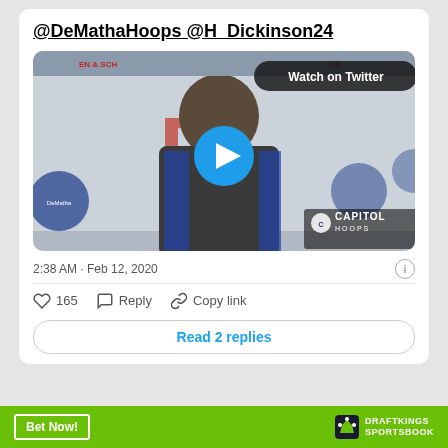@DeMathaHoops @H_Dickinson24
[Figure (screenshot): Video thumbnail showing a young man in a dark jacket standing in front of a DeMatha Catholic High School backdrop. A blue play button is centered on the image. Top right shows 'Watch on Twitter' banner. Bottom right shows Capitol Hoops watermark.]
2:38 AM · Feb 12, 2020
165   Reply   Copy link
Read 2 replies
[Figure (logo): DraftKings Sportsbook advertisement bar with 'Bet Now!' button on green background]